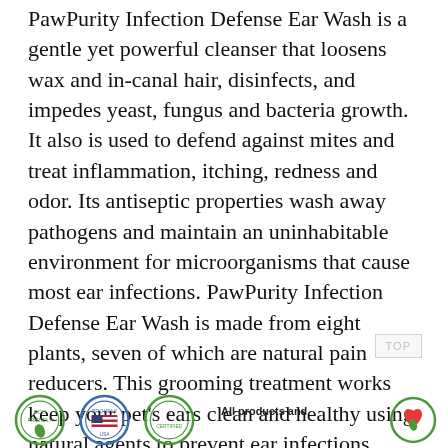PawPurity Infection Defense Ear Wash is a gentle yet powerful cleanser that loosens wax and in-canal hair, disinfects, and impedes yeast, fungus and bacteria growth. It also is used to defend against mites and treat inflammation, itching, redness and odor. Its antiseptic properties wash away pathogens and maintain an uninhabitable environment for microorganisms that cause most ear infections. PawPurity Infection Defense Ear Wash is made from eight plants, seven of which are natural pain reducers. This grooming treatment works keep your pet's ears clean and healthy using natural agents to prevent ear infections.
[Figure (infographic): Row of certification/badge icons at the bottom: eco-friendly badge, proudly made badge, another badge, text reading 'All products and', and a heart/leaf icon]